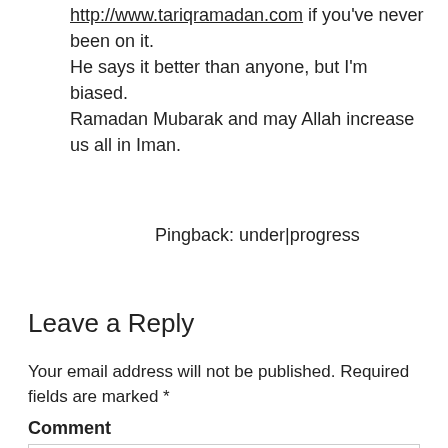http://www.tariqramadan.com if you've never been on it.
He says it better than anyone, but I'm biased.
Ramadan Mubarak and may Allah increase us all in Iman.
Pingback: under|progress
Leave a Reply
Your email address will not be published. Required fields are marked *
Comment